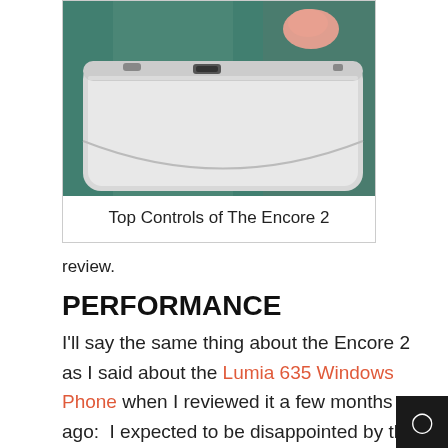[Figure (photo): A hand holding the top edge of a white tablet (Toshiba Encore 2), showing top controls including buttons and a USB port, against a textured background.]
Top Controls of The Encore 2
review.
PERFORMANCE
I'll say the same thing about the Encore 2 as I said about the Lumia 635 Windows Phone when I reviewed it a few months ago:  I expected to be disappointed by the performance of this tablet but have been pleasantly surprised by its performance.  The Atom processor has plenty of zip and even using Office applications like Word and Excel, it is able to keep up with really no serious lag.  Even when I play